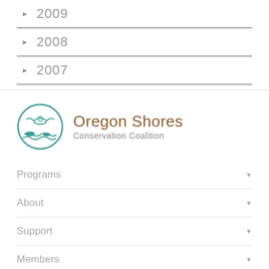2009
2008
2007
[Figure (logo): Oregon Shores Conservation Coalition logo — circular teal emblem with a seabird and ocean waves, beside the organization name in brown and gray text]
Programs
About
Support
Members